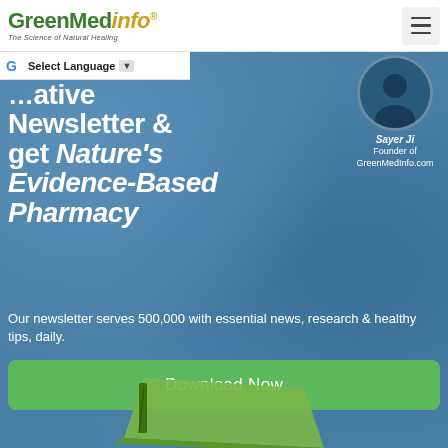GreenMedInfo® – The Science of Natural Healing
Select Language ▼
[Figure (photo): Circular portrait photo of Sayer Ji, Founder of GreenMedInfo.com, with name and title below]
...ative Newsletter & get Nature's Evidence-Based Pharmacy
Our newsletter serves 500,000 with essential news, research & healthy tips, daily.
Download Now
[Figure (photo): Bottom portion showing a green book/booklet partially visible at the bottom of the page]